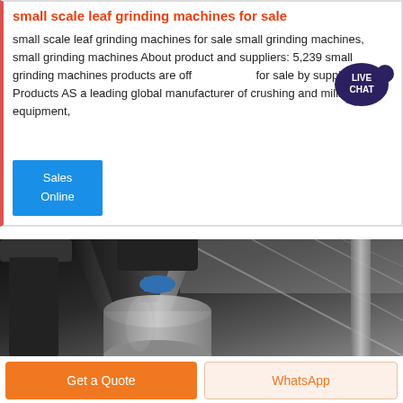small scale leaf grinding machines for sale
small scale leaf grinding machines for sale small grinding machines, small grinding machines About product and suppliers: 5,239 small grinding machines products are offered for sale by suppliers on A Products AS a leading global manufacturer of crushing and milling equipment,
[Figure (illustration): Live Chat speech bubble badge with dark blue color and white text reading LIVE CHAT]
Sales
Online
[Figure (photo): Industrial grinding/milling machine photographed from below looking up, showing large dark metal hopper/funnel and cylindrical machinery components with industrial ceiling structure in background]
Get a Quote
WhatsApp